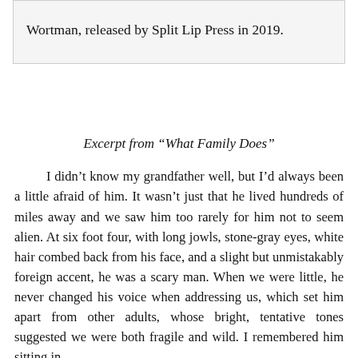Wortman, released by Split Lip Press in 2019.
Excerpt from “What Family Does”
I didn’t know my grandfather well, but I’d always been a little afraid of him. It wasn’t just that he lived hundreds of miles away and we saw him too rarely for him not to seem alien. At six foot four, with long jowls, stone-gray eyes, white hair combed back from his face, and a slight but unmistakably foreign accent, he was a scary man. When we were little, he never changed his voice when addressing us, which set him apart from other adults, whose bright, tentative tones suggested we were both fragile and wild. I remembered him sitting in